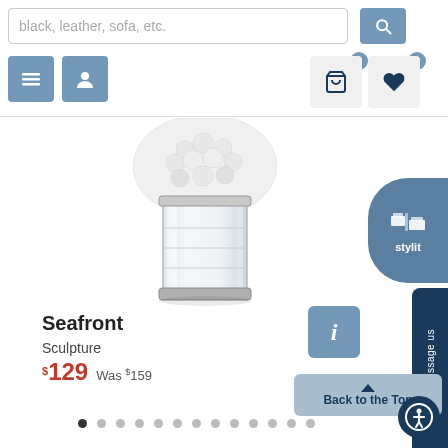[Figure (screenshot): E-commerce product page screenshot showing a decorative sculpture called 'Seafront' with search bar, navigation buttons, product image, price, and UI elements]
black, leather, sofa, etc.
Seafront
Sculpture
$129  Was $159
Back to the Top
Message us